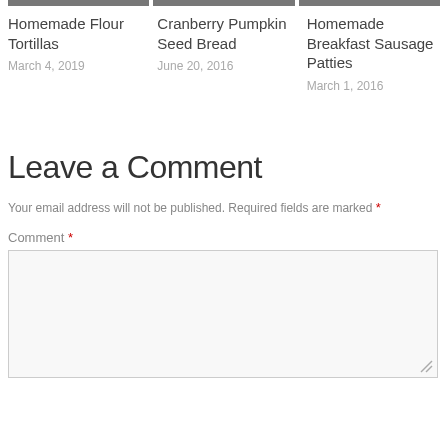[Figure (photo): Three food photos shown as image thumbnails at top]
Homemade Flour Tortillas
March 4, 2019
Cranberry Pumpkin Seed Bread
June 20, 2016
Homemade Breakfast Sausage Patties
March 1, 2016
Leave a Comment
Your email address will not be published. Required fields are marked *
Comment *